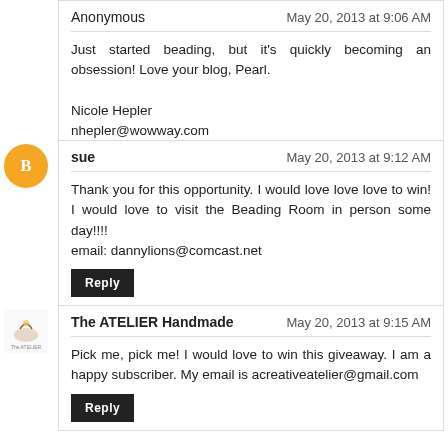Anonymous — May 20, 2013 at 9:06 AM
Just started beading, but it's quickly becoming an obsession! Love your blog, Pearl.

Nicole Hepler
nhepler@wowway.com
Reply
sue — May 20, 2013 at 9:12 AM
Thank you for this opportunity. I would love love love to win! I would love to visit the Beading Room in person some day!!!!
email: dannylions@comcast.net
Reply
The ATELIER Handmade — May 20, 2013 at 9:15 AM
Pick me, pick me! I would love to win this giveaway. I am a happy subscriber. My email is acreativeatelier@gmail.com
Reply